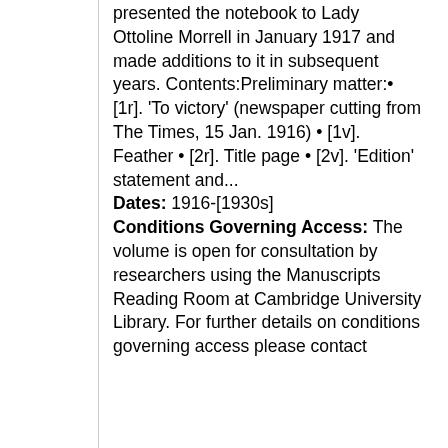presented the notebook to Lady Ottoline Morrell in January 1917 and made additions to it in subsequent years. Contents:Preliminary matter:• [1r]. 'To victory' (newspaper cutting from The Times, 15 Jan. 1916) • [1v]. Feather • [2r]. Title page • [2v]. 'Edition' statement and... Dates: 1916-[1930s] Conditions Governing Access: The volume is open for consultation by researchers using the Manuscripts Reading Room at Cambridge University Library. For further details on conditions governing access please contact